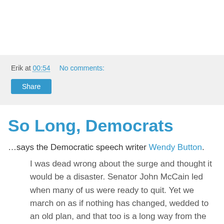Erik at 00:54   No comments:
Share
So Long, Democrats
…says the Democratic speech writer Wendy Button.
I was dead wrong about the surge and thought it would be a disaster. Senator John McCain led when many of us were ready to quit. Yet we march on as if nothing has changed, wedded to an old plan, and that too is a long way from the Democratic Party.
I can no longer justify what this party has done and can't dismiss the treatment of women and working people as just part of the new kind of